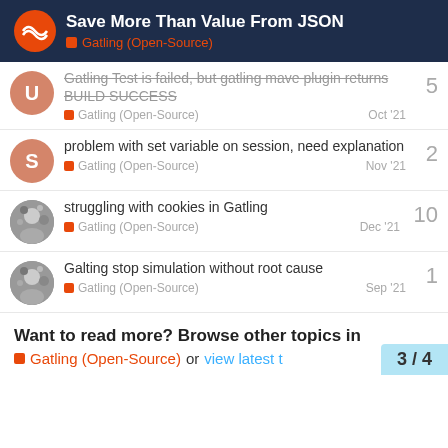Save More Than Value From JSON — Gatling (Open-Source)
Gatling Test is failed, but gatling mave plugin returns BUILD SUCCESS | Gatling (Open-Source) | Oct '21 | 5 replies
problem with set variable on session, need explanation | Gatling (Open-Source) | Nov '21 | 2 replies
struggling with cookies in Gatling | Gatling (Open-Source) | Dec '21 | 10 replies
Galting stop simulation without root cause | Gatling (Open-Source) | Sep '21 | 1 reply
Want to read more? Browse other topics in Gatling (Open-Source) or view latest t
3 / 4